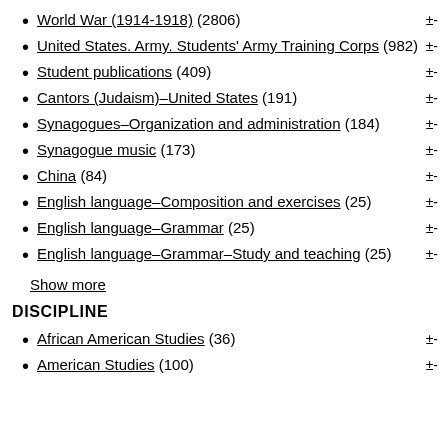World War (1914-1918) (2806)
United States. Army. Students' Army Training Corps (982)
Student publications (409)
Cantors (Judaism)–United States (191)
Synagogues–Organization and administration (184)
Synagogue music (173)
China (84)
English language–Composition and exercises (25)
English language–Grammar (25)
English language–Grammar–Study and teaching (25)
Show more
DISCIPLINE
African American Studies (36)
American Studies (100)